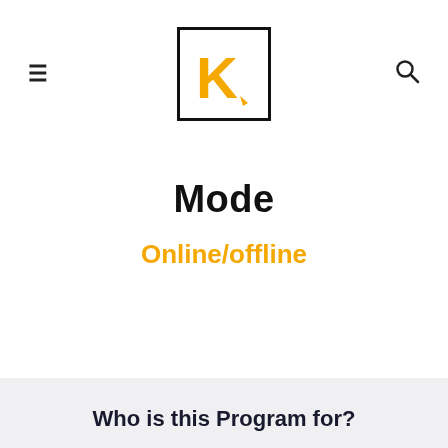[Figure (logo): K logo in a black bordered square with a pencil-styled K in orange/yellow color]
Mode
Online/offline
Who is this Program for?
Any technical graduate/freshers looking to get skilled and get their First Dream Job can enroll for these courses